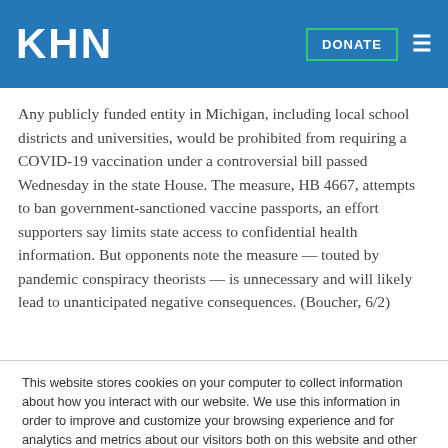KHN
Any publicly funded entity in Michigan, including local school districts and universities, would be prohibited from requiring a COVID-19 vaccination under a controversial bill passed Wednesday in the state House. The measure, HB 4667, attempts to ban government-sanctioned vaccine passports, an effort supporters say limits state access to confidential health information. But opponents note the measure — touted by pandemic conspiracy theorists — is unnecessary and will likely lead to unanticipated negative consequences. (Boucher, 6/2)
This website stores cookies on your computer to collect information about how you interact with our website. We use this information in order to improve and customize your browsing experience and for analytics and metrics about our visitors both on this website and other media. To find out more about the cookies we use, see our Privacy Policy.